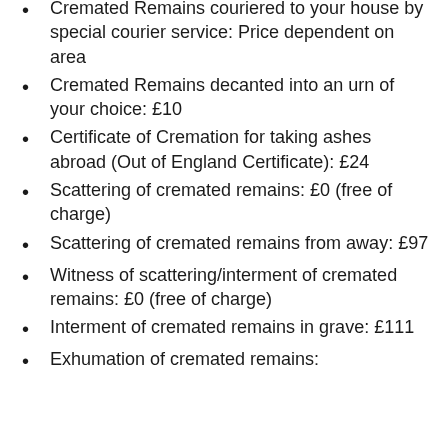Cremated Remains couriered to your house by special courier service: Price dependent on area
Cremated Remains decanted into an urn of your choice: £10
Certificate of Cremation for taking ashes abroad (Out of England Certificate): £24
Scattering of cremated remains: £0 (free of charge)
Scattering of cremated remains from away: £97
Witness of scattering/interment of cremated remains: £0 (free of charge)
Interment of cremated remains in grave: £111
Exhumation of cremated remains: